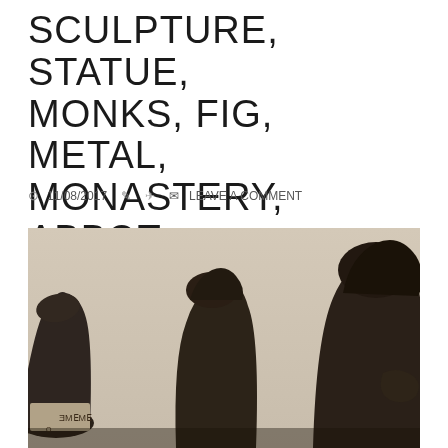SCULPTURE, STATUE, MONKS, FIG, METAL, MONASTERY, ABBOT, METALLIC, ABBEY
11/08/2017  LEAVE A COMMENT
[Figure (photo): A photograph of three dark metallic monk sculptures or statues wearing hooded robes, against a pale beige/grey sky background. One statue holds a sign with reversed text reading 'MEMENTO'. The figures appear to be bronze or metal monastery sculptures.]